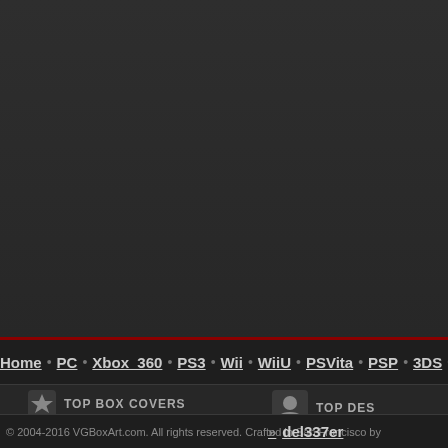[Figure (screenshot): Dark header area of VGBoxArt.com website, dark gray background with red accent line at bottom]
Home · PC · Xbox 360 · PS3 · Wii · WiiU · PSVita · PSP · 3DS · D
TOP BOX COVERS
TOP DES
» del337er
» SGJin
» enrique
» *toptime*
» Vince_1990
© 2004-2016 VGBoxArt.com. All rights reserved. Crafted in San Francisco by